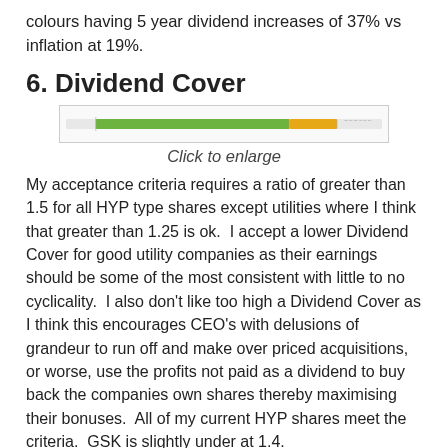colours having 5 year dividend increases of 37% vs inflation at 19%.
6. Dividend Cover
[Figure (infographic): A horizontal bar chart thumbnail showing dividend cover for HYP shares, with green and orange bars.]
Click to enlarge
My acceptance criteria requires a ratio of greater than 1.5 for all HYP type shares except utilities where I think that greater than 1.25 is ok.  I accept a lower Dividend Cover for good utility companies as their earnings should be some of the most consistent with little to no cyclicality.  I also don't like too high a Dividend Cover as I think this encourages CEO's with delusions of grandeur to run off and make over priced acquisitions, or worse, use the profits not paid as a dividend to buy back the companies own shares thereby maximising their bonuses.  All of my current HYP shares meet the criteria.  GSK is slightly under at 1.4.
7. Operating Cash Flow to Dividends
[Figure (infographic): A thumbnail chart showing operating cash flow to dividends data.]